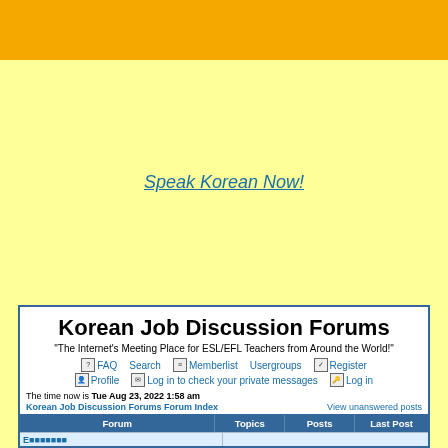[Figure (other): Orange/yellow top banner strip]
Speak Korean Now!
Korean Job Discussion Forums
"The Internet's Meeting Place for ESL/EFL Teachers from Around the World!"
FAQ  Search  Memberlist  Usergroups  Register  Profile  Log in to check your private messages  Log in
The time now is Tue Aug 23, 2022 1:58 am
Korean Job Discussion Forums Forum Index
View unanswered posts
| Forum | Topics | Posts | Last Post |
| --- | --- | --- | --- |
| [partial row] |  |  |  |